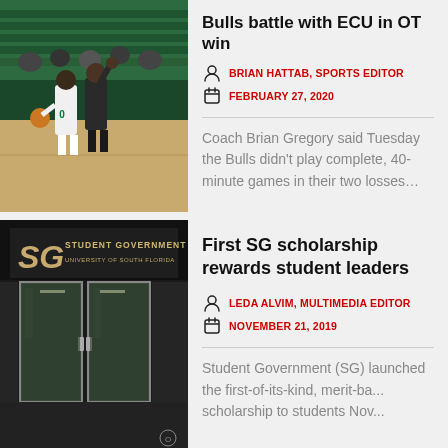[Figure (photo): Basketball game photo showing a USF Bulls player in white uniform dribbling against a defender, indoor arena with green seats]
Bulls battle with ECU in OT win
BRIAN HATTAB, SPORTS EDITOR
FEBRUARY 27, 2020
Coach Brian Gregory said Tuesday the Bulls didn't play complete, 40-minute games in their two losses…
[Figure (photo): Student Government building entrance with SG logo and text 'Student Government University of South Florida' on glass doors]
First SG scholarship rewards student leaders
LEDA ALVIM, MULTIMEDIA EDITOR
NOVEMBER 21, 2019
Student Government (SG) launched the first-of-its-kind, merit-ba... scholarship to students Nov...